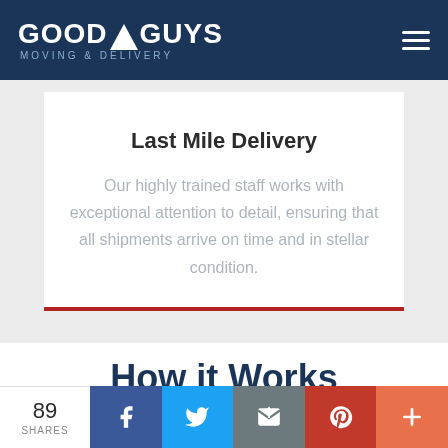[Figure (logo): Good Guys Moving & Delivery logo with white triangle icon on dark navy header background]
Last Mile Delivery
Our highly trained staff works with exceptional attention to detail, ensuring that all shipments arrive on time and in stellar condition.
How it Works
[Figure (infographic): Social share bar with 89 SHARES count and buttons for Facebook, Twitter, Email, Pinterest, and More]